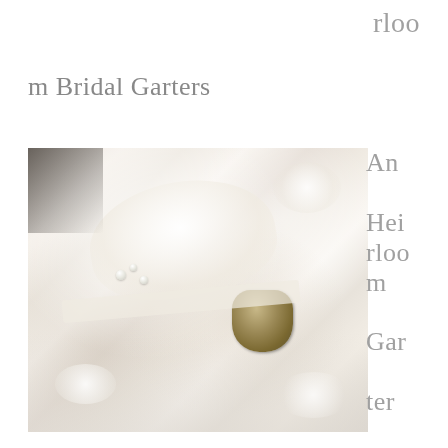rloo
m Bridal Garters
[Figure (photo): Close-up photograph of a white bridal garter with lace, ribbon bow, pearl beads, and an antique-style metal butterfly/fan charm]
An Hei rloo m Gar ter